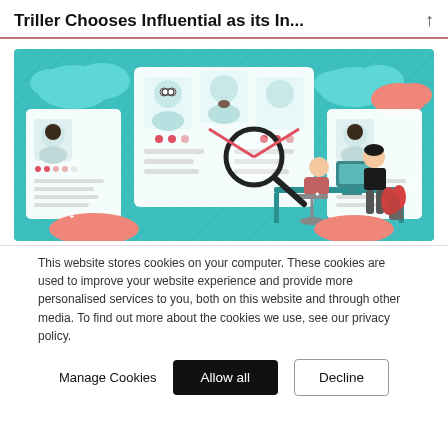Triller Chooses Influential as its In...
[Figure (illustration): Flat design illustration showing two people searching through profile cards/resumes. A standing person holds a large magnifying glass over a grid of profile cards showing faces. A seated person works at a computer. Decorative plants and coral/teal color scheme.]
This website stores cookies on your computer. These cookies are used to improve your website experience and provide more personalised services to you, both on this website and through other media. To find out more about the cookies we use, see our privacy policy.
Manage Cookies    Allow all    Decline